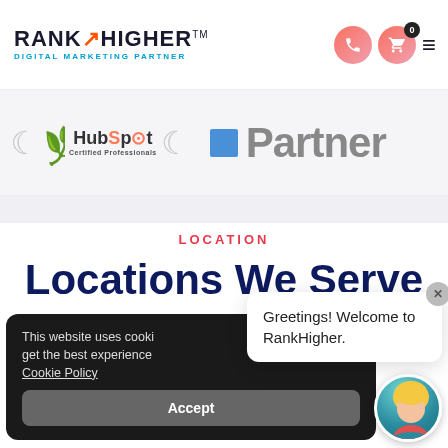RANKHIGHER™ DIGITAL MARKETING PARTNER
[Figure (logo): HubSpot Certified Professionals badge with laurel wreath and partial Partner logo on right]
LOCATION
Locations We Serve
This website uses cooki... get the best experience... Cookie Policy
Accept
Greetings! Welcome to RankHigher.